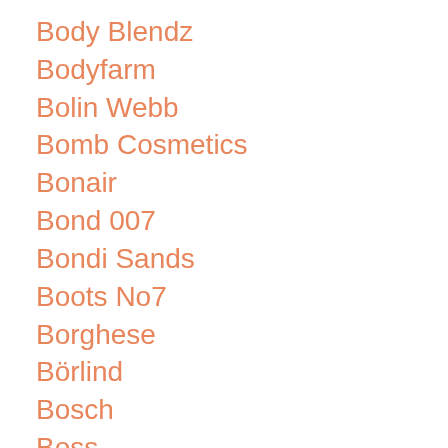Body Blendz
Bodyfarm
Bolin Webb
Bomb Cosmetics
Bonair
Bond 007
Bondi Sands
Boots No7
Borghese
Börlind
Bosch
Boss